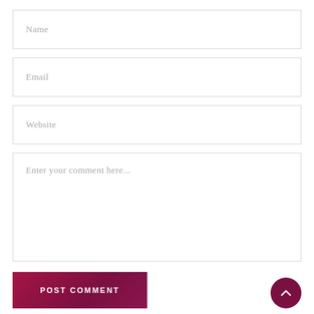Name
Email
Website
Enter your comment here...
POST COMMENT